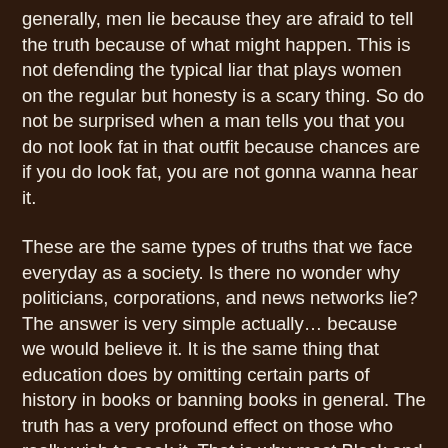generally, men lie because they are afraid to tell the truth because of what might happen. This is not defending the typical liar that plays women on the regular but honesty is a scary thing. So do not be surprised when a man tells you that you do not look fat in that outfit because chances are if you do look fat, you are not gonna wanna hear it.
These are the same types of truths that we face everyday as a society. Is there no wonder why politicians, corporations, and news networks lie? The answer is very simple actually… because we would believe it. It is the same thing that education does by omitting certain parts of history in books or banning books in general. The truth has a very profound effect on those who really wish to seek it. That is why most Black and Latino people get really angry in college for about 1-2 years. All those omissions in history books in high school begin to catch up and the realization is nothing less than infuriating.
The problem with the truth is that most people right now are living a lie. They lie to themselves about their state of happiness. In fact, there are people who have built their